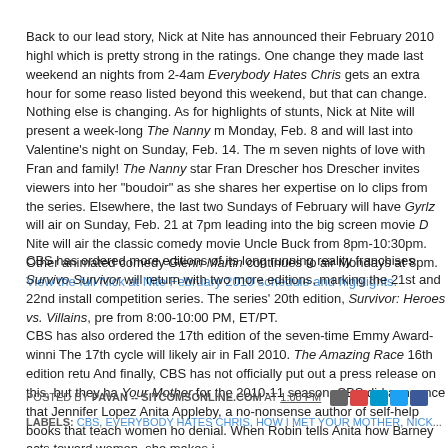Back to our lead story, Nick at Nite has announced their February 2010 highlights, which is pretty strong in the ratings. One change they made last weekend and nights from 2-4am Everybody Hates Chris gets an extra hour for some reason, listed beyond this weekend, but that can change. Nothing else is changing. As for highlights of stunts, Nick at Nite will present a week-long The Nanny marathon Monday, Feb. 8 and will last into Valentine's night on Sunday, Feb. 14. The marathon seven nights of love with Fran and family! The Nanny star Fran Drescher hosts. Drescher invites viewers into her "boudoir" as she shares her expertise on love and clips from the series. Elsewhere, the last two Sundays of February will have Gyrlz will air on Sunday, Feb. 21 at 7pm leading into the big screen movie D... Nite will air the classic comedy movie Uncle Buck from 8pm-10:30pm. Other animated comedy Glenn Martin continues to air Mondays at 8pm. View the full Nick at Nite February 2010 schedule and highlights.
CBS has ordered more editions of its long running reality franchises Survivor. Survivor will return with two more editions, marking the 21st and 22nd installments of the competition series. The series' 20th edition, Survivor: Heroes vs. Villains, premieres from 8:00-10:00 PM, ET/PT. CBS has also ordered the 17th edition of the seven-time Emmy Award-winning series. The 17th cycle will likely air in Fall 2010. The Amazing Race 16th edition returns. And finally, CBS has not officially put out a press release on this, but they have. Your Mother for the 2010-11 season. CBS did announce that Jennifer Lopez plays Anita Appleby, a no-nonsense author of self-help books that teach women how to denial. When Robin tells Anita how Barney acts toward women, she makes it...
POSTED BY PAVAN -- SITCOMSONLINE.COM AT 1:00 PM
LABELS: CBS, EVERYBODY HATES CHRIS, HOW I MET YOUR MOTHER, NICK...